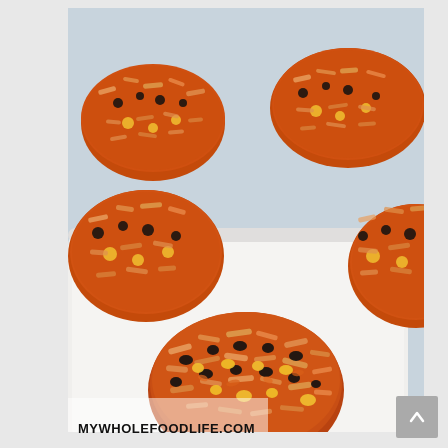[Figure (photo): Food photograph showing four round burger/veggie patties made with sweet potato, oats, black beans, and corn, placed on a white rectangular baking dish with a light blue textile background. The patties are orange-brown with visible oats, black beans, and corn kernels. A watermark at the bottom reads MYWHOLEFOODLIFE.COM.]
MYWHOLEFOODLIFE.COM